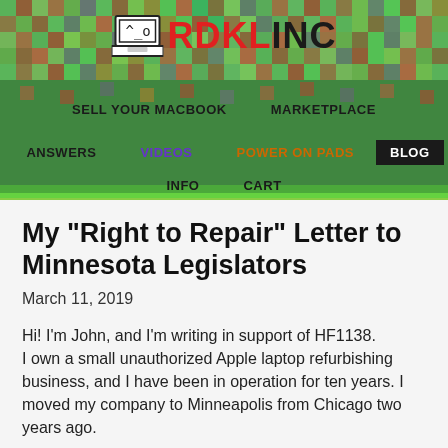RDKL INC — SELL YOUR MACBOOK | MARKETPLACE | ANSWERS | VIDEOS | POWER ON PADS | BLOG | INFO | CART
My "Right to Repair" Letter to Minnesota Legislators
March 11, 2019
Hi!  I'm John, and I'm writing in support of HF1138.
I own a small unauthorized Apple laptop refurbishing business, and I have been in operation for ten years.  I moved my company to Minneapolis from Chicago two years ago.